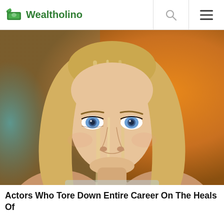Wealtholino
[Figure (photo): Close-up photo of a young blonde woman with blue eyes, long straight hair, against a blurred orange background]
Actors Who Tore Down Entire Career On The Heals Of